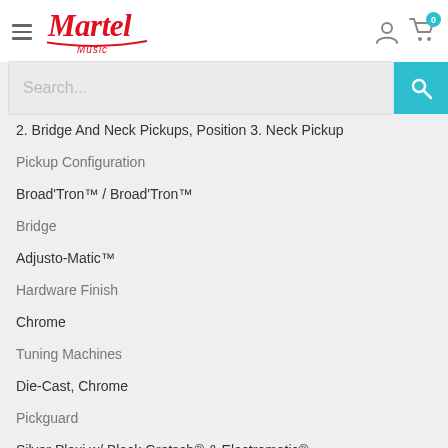[Figure (logo): Martel Music logo in red script text]
2. Bridge And Neck Pickups, Position 3. Neck Pickup
Pickup Configuration
Broad'Tron™ / Broad'Tron™
Bridge
Adjusto-Matic™
Hardware Finish
Chrome
Tuning Machines
Die-Cast, Chrome
Pickguard
Silver Plexi w/ Black Gretsch® & Electromatic®
Logos
Control Knobs